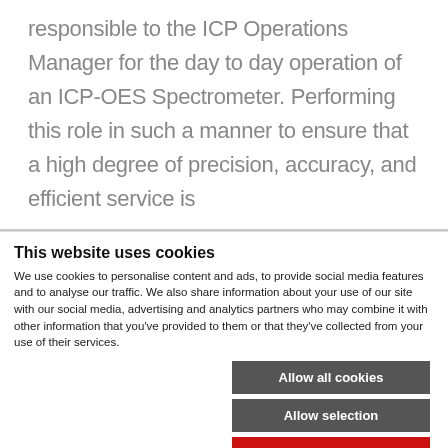responsible to the ICP Operations Manager for the day to day operation of an ICP-OES Spectrometer.  Performing this role in such a manner to ensure that a high degree of precision, accuracy, and efficient service is
This website uses cookies
We use cookies to personalise content and ads, to provide social media features and to analyse our traffic. We also share information about your use of our site with our social media, advertising and analytics partners who may combine it with other information that you've provided to them or that they've collected from your use of their services.
Allow all cookies
Allow selection
Use necessary cookies only
Necessary   Preferences   Statistics   Marketing   Show details